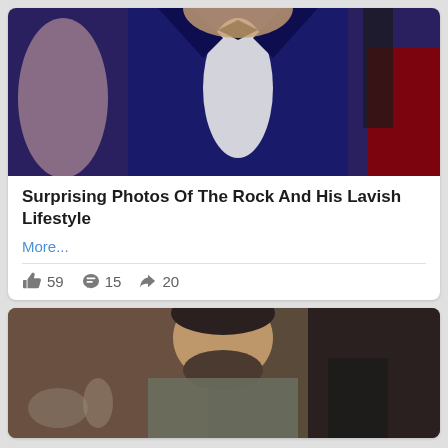[Figure (photo): Man in blue velvet tuxedo with bow tie at formal event, red carpet background]
Surprising Photos Of The Rock And His Lavish Lifestyle
More...
59  15  20
[Figure (photo): Man with beard and short dark hair in casual setting, looking to side]